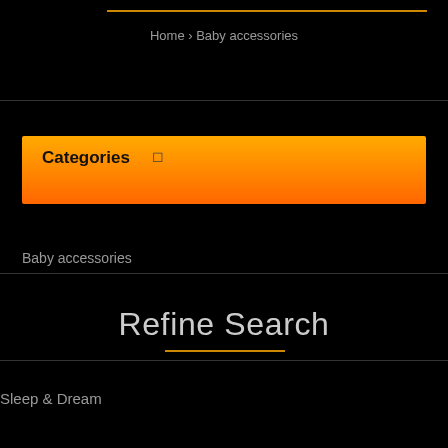Home › Baby accessories
Categories
Baby accessories
Refine Search
Sleep & Dream